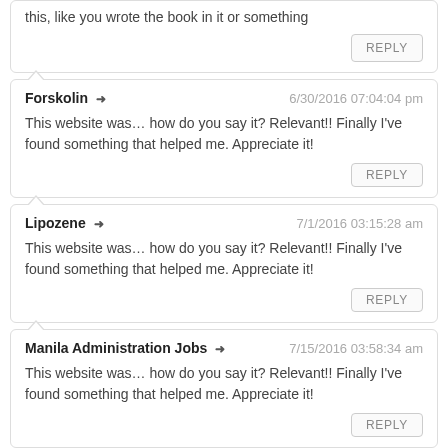this, like you wrote the book in it or something
REPLY
Forskolin → 6/30/2016 07:04:04 pm
This website was… how do you say it? Relevant!! Finally I've found something that helped me. Appreciate it!
REPLY
Lipozene → 7/1/2016 03:15:28 am
This website was… how do you say it? Relevant!! Finally I've found something that helped me. Appreciate it!
REPLY
Manila Administration Jobs → 7/15/2016 03:58:34 am
This website was… how do you say it? Relevant!! Finally I've found something that helped me. Appreciate it!
REPLY